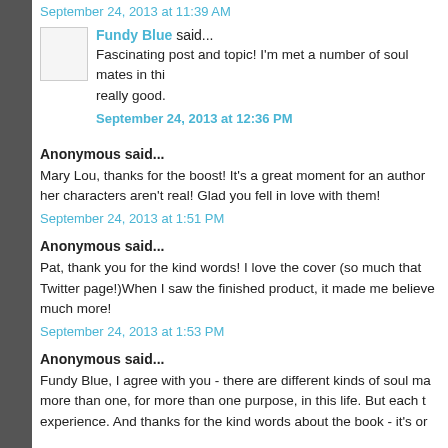September 24, 2013 at 11:39 AM
Fundy Blue said...
Fascinating post and topic! I'm met a number of soul mates in thi... really good.
September 24, 2013 at 12:36 PM
Anonymous said...
Mary Lou, thanks for the boost! It's a great moment for an author... her characters aren't real! Glad you fell in love with them!
September 24, 2013 at 1:51 PM
Anonymous said...
Pat, thank you for the kind words! I love the cover (so much that... Twitter page!)When I saw the finished product, it made me believe... much more!
September 24, 2013 at 1:53 PM
Anonymous said...
Fundy Blue, I agree with you - there are different kinds of soul ma... more than one, for more than one purpose, in this life. But each t... experience. And thanks for the kind words about the book - it's on...